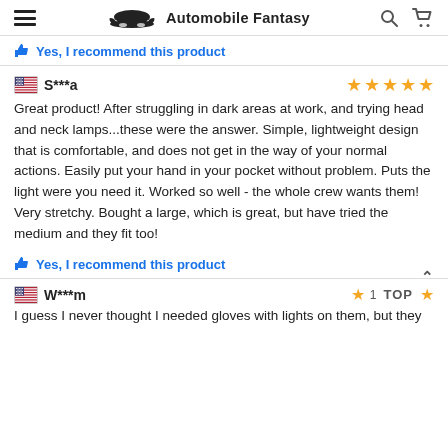Automobile Fantasy
Yes, I recommend this product
S***a — 5 stars
Great product! After struggling in dark areas at work, and trying head and neck lamps...these were the answer. Simple, lightweight design that is comfortable, and does not get in the way of your normal actions. Easily put your hand in your pocket without problem. Puts the light were you need it. Worked so well - the whole crew wants them! Very stretchy. Bought a large, which is great, but have tried the medium and they fit too!
Yes, I recommend this product
W***m — 1 star — TOP
I guess I never thought I needed gloves with lights on them, but they